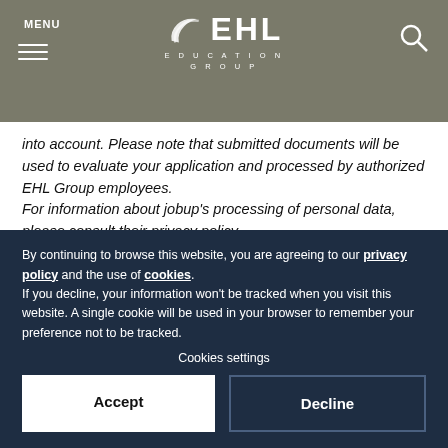MENU | EHL EDUCATION GROUP
into account. Please note that submitted documents will be used to evaluate your application and processed by authorized EHL Group employees. For information about jobup's processing of personal data, please consult their privacy policy.
[Figure (other): Apply (on jobup.ch) button — dark navy blue button with pencil/edit icon and bold white text]
By continuing to browse this website, you are agreeing to our privacy policy and the use of cookies. If you decline, your information won't be tracked when you visit this website. A single cookie will be used in your browser to remember your preference not to be tracked.
Cookies settings
Accept
Decline